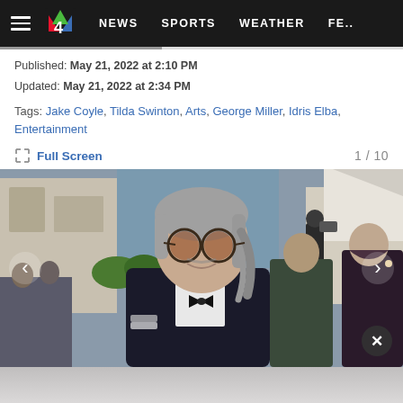≡  4  NEWS  SPORTS  WEATHER  FE..
Published: May 21, 2022 at 2:10 PM
Updated: May 21, 2022 at 2:34 PM
Tags: Jake Coyle, Tilda Swinton, Arts, George Miller, Idris Elba, Entertainment
Full Screen  1 / 10
[Figure (photo): Man with gray hair and round brown-tinted sunglasses wearing a tuxedo at what appears to be the Cannes Film Festival red carpet, surrounded by other attendees and photographers]